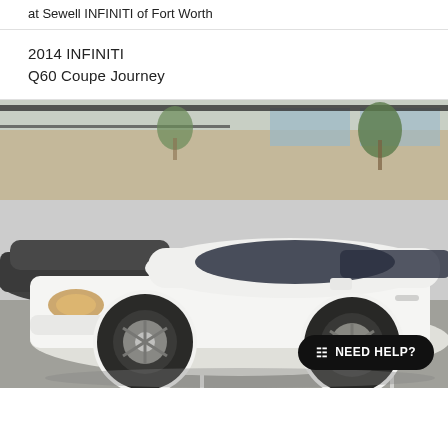at Sewell INFINITI of Fort Worth
2014 INFINITI
Q60 Coupe Journey
[Figure (photo): White 2014 Infiniti Q60 Coupe Journey parked in a parking lot, side profile view, with another dark vehicle visible to the left and a building in the background. A 'NEED HELP?' chat button is overlaid in the bottom-right corner.]